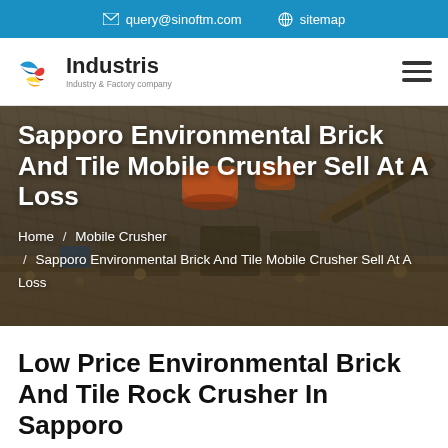query@sinoftm.com   sitemap
[Figure (logo): Industris Industry & Factory company logo with colorful bird/flame icon]
Sapporo Environmental Brick And Tile Mobile Crusher Sell At A Loss
Home / Mobile Crusher / Sapporo Environmental Brick And Tile Mobile Crusher Sell At A Loss
Low Price Environmental Brick And Tile Rock Crusher In Sapporo